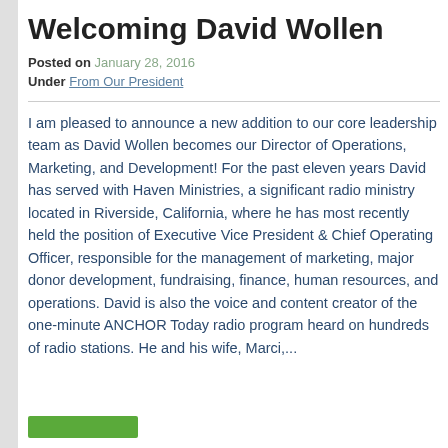Welcoming David Wollen
Posted on January 28, 2016
Under From Our President
I am pleased to announce a new addition to our core leadership team as David Wollen becomes our Director of Operations, Marketing, and Development! For the past eleven years David has served with Haven Ministries, a significant radio ministry located in Riverside, California, where he has most recently held the position of Executive Vice President & Chief Operating Officer, responsible for the management of marketing, major donor development, fundraising, finance, human resources, and operations. David is also the voice and content creator of the one-minute ANCHOR Today radio program heard on hundreds of radio stations. He and his wife, Marci,...